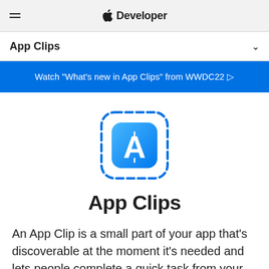Apple Developer
App Clips
Watch "What's new in App Clips" from WWDC22 ▷
[Figure (logo): App Clips icon: blue gradient rounded square with white App Store compass/A logo, surrounded by dashed blue rounded square border]
App Clips
An App Clip is a small part of your app that's discoverable at the moment it's needed and lets people complete a quick task from your